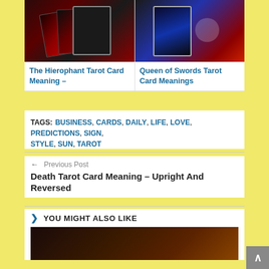[Figure (photo): Tarot card image for The Hierophant Tarot Card]
The Hierophant Tarot Card Meaning –
[Figure (photo): Tarot card image for Queen of Swords Tarot Card]
Queen of Swords Tarot Card Meanings
TAGS: BUSINESS, CARDS, DAILY, LIFE, LOVE, PREDICTIONS, SIGN, STYLE, SUN, TAROT
← Previous Post
Death Tarot Card Meaning – Upright And Reversed
YOU MIGHT ALSO LIKE
[Figure (photo): Bottom image thumbnail for You Might Also Like section]